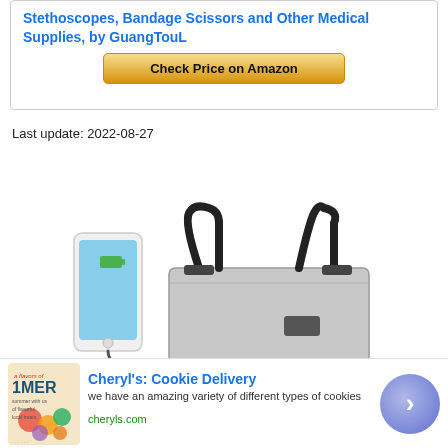Stethoscopes, Bandage Scissors and Other Medical Supplies, by GuangTouL
Check Price on Amazon
Last update: 2022-08-27
[Figure (photo): Product photo showing a grey tote bag with black handles and a smartphone charging via cable]
[Figure (photo): Advertisement banner: Cheryl's Cookie Delivery showing a colorful food/cookie image with 'a flavors of IMER' text]
Cheryl's: Cookie Delivery
we have an amazing variety of different types of cookies
cheryls.com